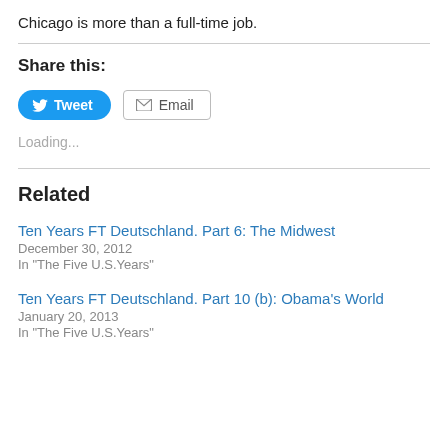Chicago is more than a full-time job.
Share this:
[Figure (other): Tweet button (blue rounded) and Email button (grey bordered) for sharing content]
Loading...
Related
Ten Years FT Deutschland. Part 6: The Midwest
December 30, 2012
In "The Five U.S.Years"
Ten Years FT Deutschland. Part 10 (b): Obama's World
January 20, 2013
In "The Five U.S.Years"